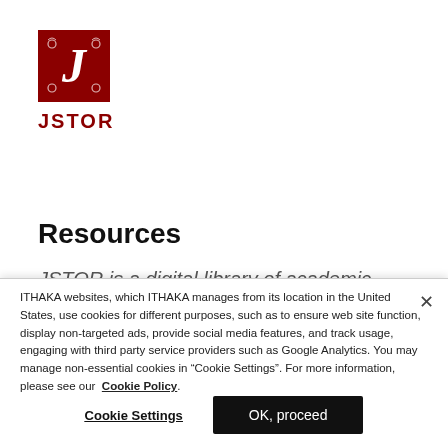[Figure (logo): JSTOR logo — red square with ornate white J letterform, with text JSTOR below in dark red]
Resources
JSTOR is a digital library of academic...
ITHAKA websites, which ITHAKA manages from its location in the United States, use cookies for different purposes, such as to ensure web site function, display non-targeted ads, provide social media features, and track usage, engaging with third party service providers such as Google Analytics. You may manage non-essential cookies in “Cookie Settings”. For more information, please see our Cookie Policy.
Cookie Settings
OK, proceed